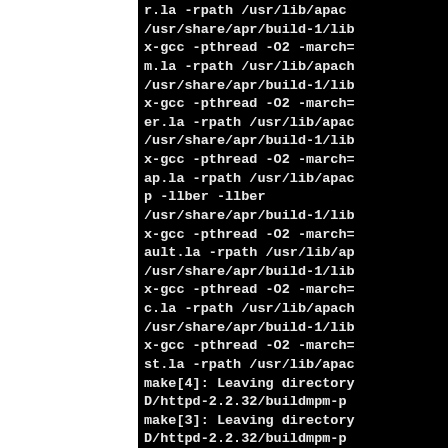r.la -rpath /usr/lib/apac /usr/share/apr/build-1/lib x-gcc -pthread -O2 -march= m.la -rpath /usr/lib/apach /usr/share/apr/build-1/lib x-gcc -pthread -O2 -march= er.la -rpath /usr/lib/apac /usr/share/apr/build-1/lib x-gcc -pthread -O2 -march= ap.la -rpath /usr/lib/apac p -llber -llber /usr/share/apr/build-1/lib x-gcc -pthread -O2 -march= ault.la -rpath /usr/lib/ap /usr/share/apr/build-1/lib x-gcc -pthread -O2 -march= c.la -rpath /usr/lib/apach /usr/share/apr/build-1/lib x-gcc -pthread -O2 -march= st.la -rpath /usr/lib/apac make[4]: Leaving directory D/httpd-2.2.32/buildmpm-p make[3]: Leaving directory D/httpd-2.2.32/buildmpm-p